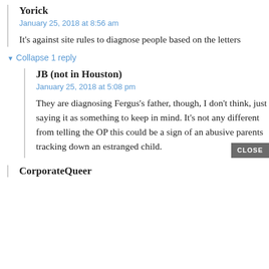Yorick
January 25, 2018 at 8:56 am
It’s against site rules to diagnose people based on the letters
▼ Collapse 1 reply
JB (not in Houston)
January 25, 2018 at 5:08 pm
They are diagnosing Fergus’s father, though, I don’t think, just saying it as something to keep in mind. It’s not any different from telling the OP this could be a sign of an abusive parents tracking down an estranged child.
CLOSE
CorporateQueer